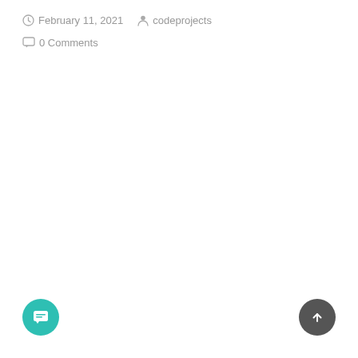February 11, 2021   codeprojects  0 Comments
[Figure (other): Teal circular chat/message button in bottom-left corner]
[Figure (other): Dark gray circular scroll-to-top button with upward arrow in bottom-right corner]